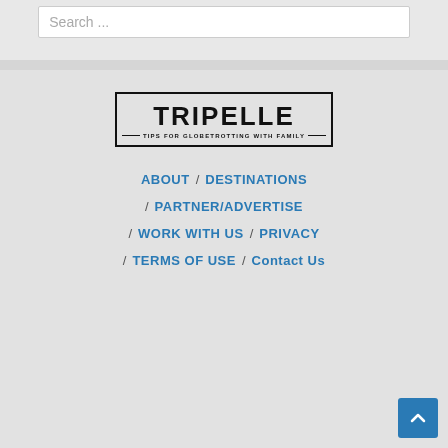Search ...
[Figure (logo): Tripelle logo with text 'TRIPELLE' and tagline 'TIPS FOR GLOBETROTTING WITH FAMILY' in a bordered box]
ABOUT / DESTINATIONS
/ PARTNER/ADVERTISE
/ WORK WITH US / PRIVACY
/ TERMS OF USE / Contact Us